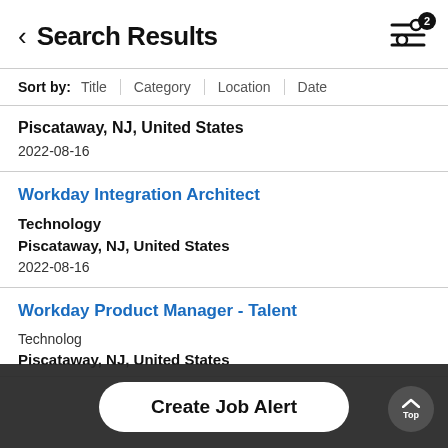Search Results
Sort by: Title | Category | Location | Date
Piscataway, NJ, United States
2022-08-16
Workday Integration Architect
Technology
Piscataway, NJ, United States
2022-08-16
Workday Product Manager - Talent
Technology
Piscataway, NJ, United States
Create Job Alert